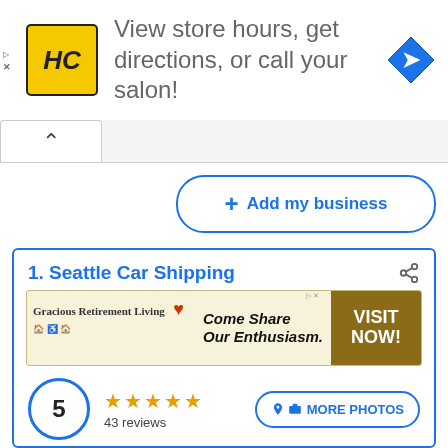[Figure (screenshot): Advertisement banner: HC logo, text 'View store hours, get directions, or call your salon!', navigation arrow icon]
Add my business
1. Seattle Car Shipping
[Figure (screenshot): Advertisement for Gracious Retirement Living: 'Come Share Our Enthusiasm. VISIT NOW!']
5
★★★★★
43 reviews
MORE PHOTOS
Services
★★★★☆  5